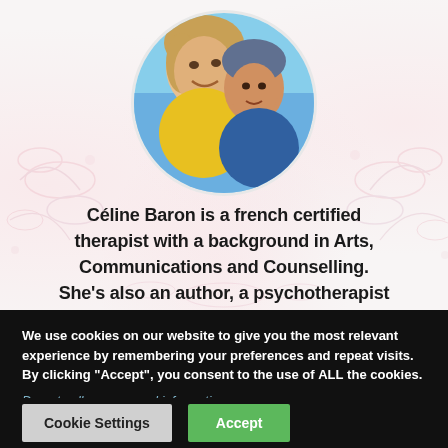[Figure (photo): Circular profile photo showing two people: an adult with blonde hair and a child, both smiling, outdoors]
Céline Baron is a french certified therapist with a background in Arts, Communications and Counselling. She's also an author, a psychotherapist and a meditation teacher. She provides
We use cookies on our website to give you the most relevant experience by remembering your preferences and repeat visits. By clicking "Accept", you consent to the use of ALL the cookies.
Do not sell my personal information.
Cookie Settings
Accept